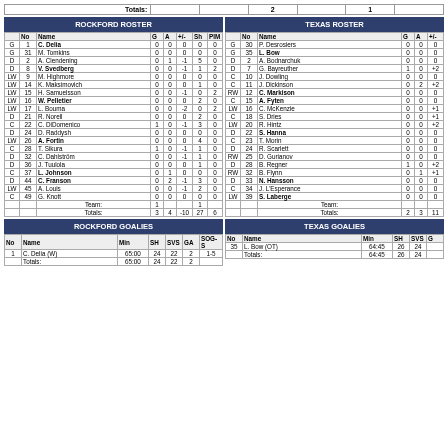| Totals: |  |  | 2 |  | 1 |  |
| --- | --- | --- | --- | --- | --- | --- |
ROCKFORD ROSTER
TEXAS ROSTER
|  | No | Name | G | A | +/- | Sh | PIM |
| --- | --- | --- | --- | --- | --- | --- | --- |
| G | 1 | C. Delia | 0 | 0 | 0 | 0 | 0 |
| G | 31 | M. Tomkins | 0 | 0 | 0 | 0 | 0 |
| D | 2 | A. Clendening | 0 | 1 | -1 | 5 | 0 |
| D | 8 | V. Svedberg | 0 | 0 | -1 | 1 | 2 |
| LW | 9 | M. Highmore | 0 | 0 | 0 | 0 | 0 |
| LW | 14 | K. Maksimovich | 0 | 0 | 0 | 1 | 0 |
| LW | 15 | H. Samuelsson | 0 | 0 | -1 | 0 | 2 |
| LW | 16 | W. Pelletier | 0 | 0 | 0 | 2 | 0 |
| LW | 17 | L. Bouma | 0 | 0 | -2 | 0 | 2 |
| D | 21 | R. Norell | 0 | 0 | 0 | 2 | 0 |
| C | 22 | C. DiDomenico | 1 | 0 | -1 | 3 | 0 |
| D | 24 | D. Raddysh | 0 | 0 | 0 | 0 | 0 |
| LW | 26 | A. Fortin | 0 | 0 | 0 | 4 | 0 |
| C | 28 | T. Sikura | 1 | 0 | -1 | 1 | 0 |
| D | 32 | C. Dahlström | 0 | 0 | -1 | 1 | 0 |
| D | 36 | J. Tuulola | 0 | 0 | 0 | 1 | 0 |
| C | 37 | L. Johnson | 0 | 1 | 0 | 0 | 0 |
| D | 44 | C. Franson | 0 | 2 | -1 | 3 | 0 |
| LW | 45 | A. Louis | 0 | 0 | -1 | 2 | 0 |
| C | 49 | G. Knott | 0 | 0 | 0 | 0 | 0 |
|  |  | Team: | 1 |  |  | 1 |  |
|  |  | Totals: | 3 | 4 | -10 | 27 | 6 |
|  | No | Name | G | A | +/- |
| --- | --- | --- | --- | --- | --- |
| G | 30 | P. Desrosiers | 0 | 0 | 0 |
| G | 35 | L. Bow | 0 | 0 | 0 |
| D | 2 | A. Bodnarchuk | 0 | 0 | 0 |
| D | 7 | G. Bayreuther | 1 | 0 | +2 |
| C | 10 | J. Dowling | 0 | 0 | 0 |
| C | 11 | J. Dickinson | 0 | 2 | +2 |
| RW | 12 | C. Markison | 0 | 0 | 0 |
| C | 15 | A. Fyten | 0 | 0 | 0 |
| LW | 16 | C. McKenzie | 0 | 0 | +1 |
| C | 18 | S. Dries | 0 | 0 | +1 |
| LW | 20 | R. Hintz | 0 | 0 | +2 |
| D | 22 | S. Hanna | 0 | 0 | 0 |
| C | 23 | T. Morin | 0 | 0 | 0 |
| D | 24 | R. Scarlett | 0 | 0 | 0 |
| RW | 25 | D. Gurianov | 0 | 0 | 0 |
| D | 28 | B. Regner | 1 | 0 | +2 |
| RW | 32 | B. Flynn | 0 | 1 | +1 |
| D | 33 | N. Hansson | 0 | 0 | 0 |
| C | 34 | J. L'Esperance | 0 | 0 | 0 |
| LW | 39 | S. Laberge | 0 | 0 | 0 |
|  |  | Team: |  |  |  |
|  |  | Totals: | 2 | 3 | 11 |
ROCKFORD GOALIES
TEXAS GOALIES
| No | Name | Min | SH | SVS | GA | SOG-S |
| --- | --- | --- | --- | --- | --- | --- |
| 1 | C. Delia (W) | 65:00 | 24 | 22 | 2 | 1-5 |
|  | Totals: | 65:00 | 24 | 22 | 2 |  |
| No | Name | Min | SH | SVS | G |
| --- | --- | --- | --- | --- | --- |
| 35 | L. Bow (OT) | 64:45 | 26 | 24 |  |
|  | Totals: | 64:45 | 26 | 24 |  |